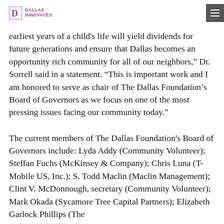DALLAS INNOVATES
earliest years of a child’s life will yield dividends for future generations and ensure that Dallas becomes an opportunity rich community for all of our neighbors,” Dr. Sorrell said in a statement. “This is important work and I am honored to serve as chair of The Dallas Foundation’s Board of Governors as we focus on one of the most pressing issues facing our community today.”
The current members of The Dallas Foundation’s Board of Governors include: Lyda Addy (Community Volunteer); Steffan Fuchs (McKinsey & Company); Chris Luna (T-Mobile US, Inc.); S. Todd Maclin (Maclin Management); Clint V. McDonnough, secretary (Community Volunteer); Mark Okada (Sycamore Tree Capital Partners); Elizabeth Garlock Phillips (The